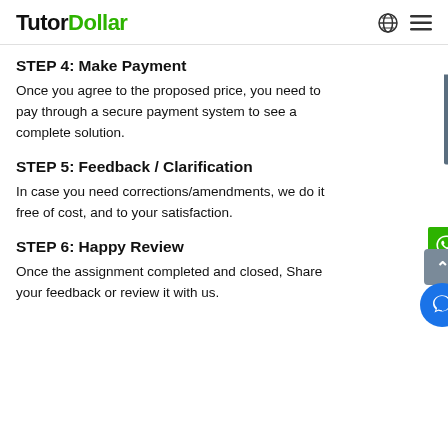TutorDollar
STEP 4: Make Payment
Once you agree to the proposed price, you need to pay through a secure payment system to see a complete solution.
STEP 5: Feedback / Clarification
In case you need corrections/amendments, we do it free of cost, and to your satisfaction.
STEP 6: Happy Review
Once the assignment completed and closed, Share your feedback or review it with us.